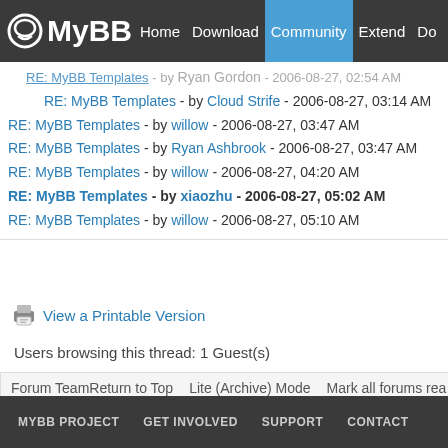MyBB Home Download Community Extend Do
RE: MyBB Templates - by Ryan Gordon - 2006-08-27, 02:54 AM
RE: MyBB Templates - by Cloud Strife - 2006-08-27, 03:14 AM
RE: MyBB Templates - by willow - 2006-08-27, 03:47 AM
RE: MyBB Templates - by Ryan Ashbrook - 2006-08-27, 03:47 AM
RE: MyBB Templates - by willow - 2006-08-27, 04:20 AM
RE: MyBB Templates - by xiaozhu - 2006-08-27, 05:02 AM
RE: MyBB Templates - by willow - 2006-08-27, 05:10 AM
View a Printable Version
Users browsing this thread: 1 Guest(s)
Forum Team   Return to Top   Lite (Archive) Mode   Mark all forums rea
Powered By MyBB, © 2002-2022 MyBB Group.
MYBB PROJECT   GET INVOLVED   SUPPORT   CONTACT